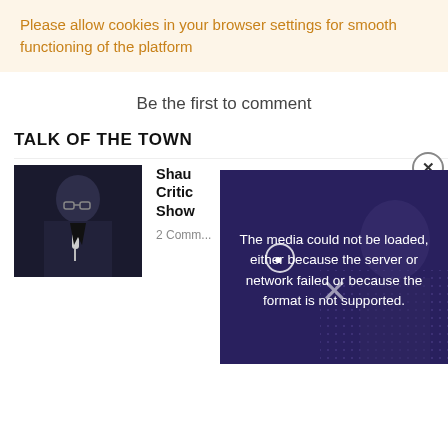Please allow cookies in your browser settings for smooth functioning of the platform
Be the first to comment
TALK OF THE TOWN
[Figure (photo): Man in dark suit holding microphone]
Shau... Critic... Show... 2 Comm...
[Figure (screenshot): Video overlay error: The media could not be loaded either because the server or network failed or because the format is not supported.]
[Figure (photo): Two people, man with gold chain and woman in gold hijab]
Brooklyn Pastor Speaks Out After Thieves Rob Him and Wife During Church Service | Video